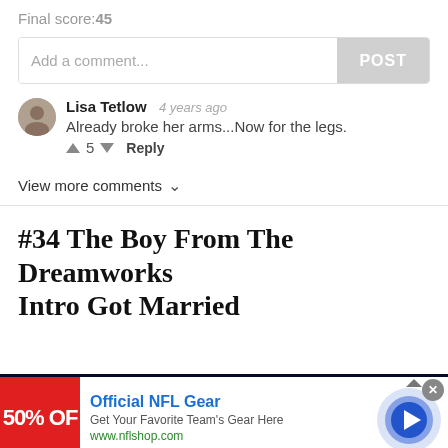Final score:45
Add a comment... POST
Lisa Tetlow  4 years ago
Already broke her arms...Now for the legs.
↑ 5 ↓ Reply
View more comments ∨
#34 The Boy From The Dreamworks Intro Got Married
[Figure (screenshot): Advertisement banner for Official NFL Gear showing a red box with '50% OFF', NFL gear promo text, and a blue circle play button, over a dark starry background.]